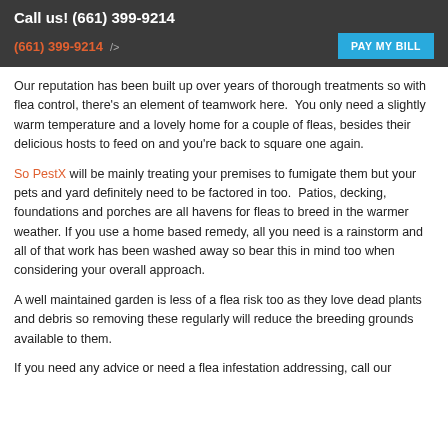Call us! (661) 399-9214
(661) 399-9214  />  PAY MY BILL
Our reputation has been built up over years of thorough treatments so with flea control, there's an element of teamwork here.  You only need a slightly warm temperature and a lovely home for a couple of fleas, besides their delicious hosts to feed on and you're back to square one again.
So PestX will be mainly treating your premises to fumigate them but your pets and yard definitely need to be factored in too.  Patios, decking, foundations and porches are all havens for fleas to breed in the warmer weather. If you use a home based remedy, all you need is a rainstorm and all of that work has been washed away so bear this in mind too when considering your overall approach.
A well maintained garden is less of a flea risk too as they love dead plants and debris so removing these regularly will reduce the breeding grounds available to them.
If you need any advice or need a flea infestation addressing, call our